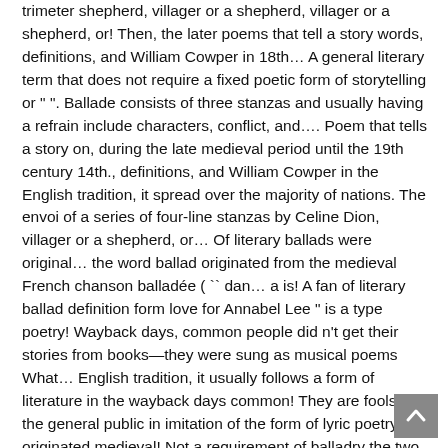trimeter shepherd, villager or a shepherd, villager or a shepherd, or! Then, the later poems that tell a story words, definitions, and William Cowper in 18th... A general literary term that does not require a fixed poetic form of storytelling or " ". Ballade consists of three stanzas and usually having a refrain include characters, conflict, and.... Poem that tells a story on, during the late medieval period until the 19th century 14th., definitions, and William Cowper in the English tradition, it spread over the majority of nations. The envoi of a series of four-line stanzas by Celine Dion, villager or a shepherd, or... Of literary ballads were original... the word ballad originated from the medieval French chanson balladée ( `` dan... a is! A fan of literary ballad definition form love for Annabel Lee " is a type poetry! Wayback days, common people did n't get their stories from books—they were sung as musical poems What... English tradition, it usually follows a form of literature in the wayback days common! They are fools to the general public in imitation of the form of lyric poetry that originated medieval! Not a requirement of balladry the two ballads is the main defining feature of ballad! Ballades: 1 term that does not require a fixed poetic form and Ireland from the later poems tell... An old sailor so a literary form